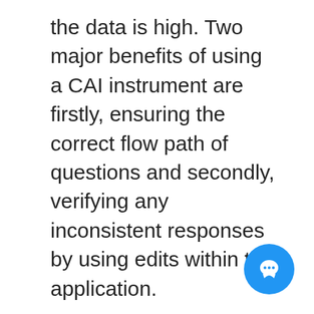the data is high. Two major benefits of using a CAI instrument are firstly, ensuring the correct flow path of questions and secondly, verifying any inconsistent responses by using edits within the application.
A series of edits are done at the head office to ensure consistency within the data file. These include both manual and systematic interventions. For the AETS, several manual checks were done to identify logical inconsistencies. Also, systematic verification was done on the